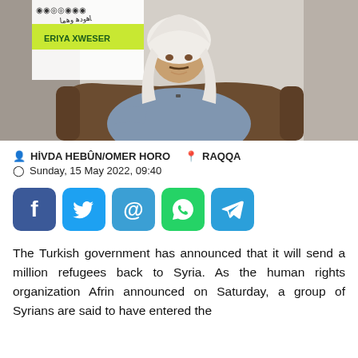[Figure (photo): A man wearing a white keffiyeh and light blue traditional robe sitting in a chair, with a banner reading 'ERIYA XWESER' in the background.]
HİVDA HEBÛN/OMER HORO  RAQQA
Sunday, 15 May 2022, 09:40
[Figure (infographic): Social media sharing buttons: Facebook (f), Twitter (bird), Email (@), WhatsApp (phone), Telegram (paper plane)]
The Turkish government has announced that it will send a million refugees back to Syria. As the human rights organization Afrin announced on Saturday, a group of Syrians are said to have entered the